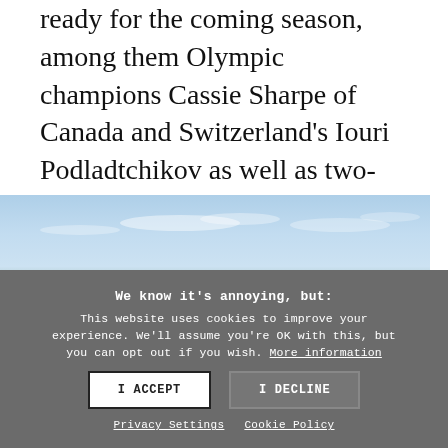ready for the coming season, among them Olympic champions Cassie Sharpe of Canada and Switzerland's Iouri Podladtchikov as well as two-time Olympic gold medalist David Wise of the USA.
[Figure (photo): Partial photograph showing sky with light clouds and a landscape horizon]
We know it's annoying, but: This website uses cookies to improve your experience. We'll assume you're OK with this, but you can opt out if you wish. More information
I ACCEPT
I DECLINE
Privacy Settings   Cookie Policy